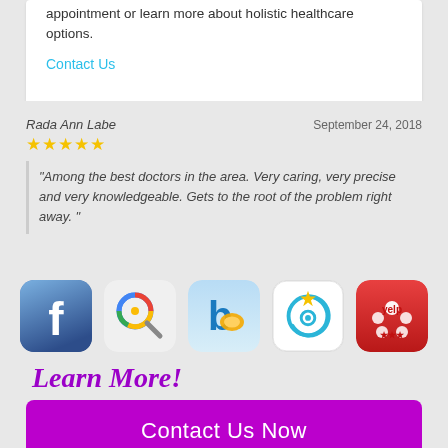appointment or learn more about holistic healthcare options.
Contact Us
Rada Ann Labe
September 24, 2018
★★★★★
"Among the best doctors in the area. Very caring, very precise and very knowledgeable. Gets to the root of the problem right away. "
[Figure (logo): Five social media / review platform icons: Facebook, Google, Bing, BBB (Customers), Yelp]
Learn More!
Contact Us Now